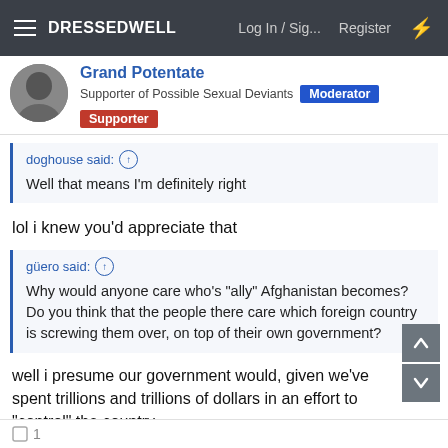DRESSEDWELL  Log In / Sig...  Register
Grand Potentate
Supporter of Possible Sexual Deviants  Moderator  Supporter
doghouse said: ↑
Well that means I'm definitely right
lol i knew you'd appreciate that
güero said: ↑
Why would anyone care who's "ally" Afghanistan becomes? Do you think that the people there care which foreign country is screwing them over, on top of their own government?
well i presume our government would, given we've spent trillions and trillions of dollars in an effort to "control" the country.
1